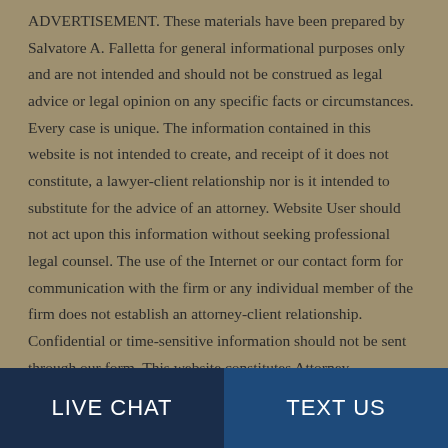ADVERTISEMENT. These materials have been prepared by Salvatore A. Falletta for general informational purposes only and are not intended and should not be construed as legal advice or legal opinion on any specific facts or circumstances. Every case is unique. The information contained in this website is not intended to create, and receipt of it does not constitute, a lawyer-client relationship nor is it intended to substitute for the advice of an attorney. Website User should not act upon this information without seeking professional legal counsel. The use of the Internet or our contact form for communication with the firm or any individual member of the firm does not establish an attorney-client relationship. Confidential or time-sensitive information should not be sent through our form. This website constitutes Attorney Advertising. Website managed
LIVE CHAT | TEXT US